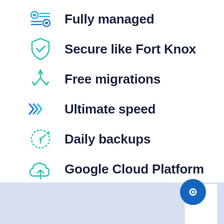Fully managed
Secure like Fort Knox
Free migrations
Ultimate speed
Daily backups
Google Cloud Platform